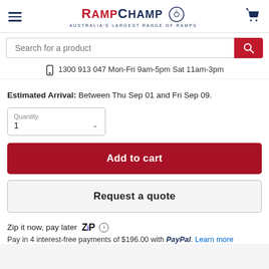[Figure (logo): RampChamp logo with red RAMP and navy CHAMP text, circular laurel wreath icon, tagline AUSTRALIA'S LARGEST RANGE OF RAMPS]
[Figure (screenshot): Search bar with placeholder 'Search for a product' and red search button with magnifying glass icon]
📱 1300 913 047 Mon-Fri 9am-5pm Sat 11am-3pm
Estimated Arrival: Between Thu Sep 01 and Fri Sep 09.
[Figure (screenshot): Quantity dropdown showing 1]
Add to cart
Request a quote
Zip it now, pay later  Z·P
Pay in 4 interest-free payments of $196.00 with PayPal. Learn more